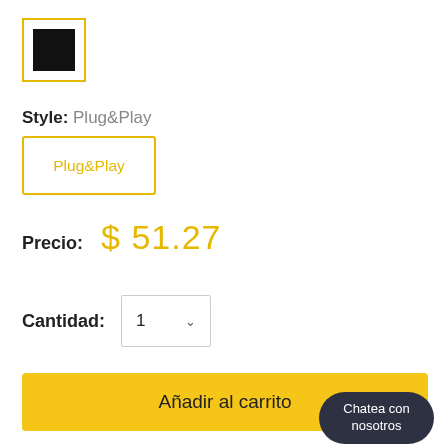[Figure (other): Black color swatch with yellow/gold border]
Style: Plug&Play
Plug&Play
Precio: $ 51.27
Cantidad: 1
Añadir al carrito
Chatea con nosotros